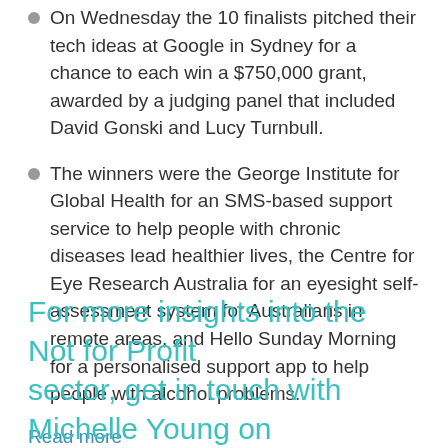On Wednesday the 10 finalists pitched their tech ideas at Google in Sydney for a chance to each win a $750,000 grant, awarded by a judging panel that included David Gonski and Lucy Turnbull.
The winners were the George Institute for Global Health for an SMS-based support service to help people with chronic diseases lead healthier lives, the Centre for Eye Research Australia for an eyesight self-assessment system for Australians in remote areas, and Hello Sunday Morning for a personalised support app to help people with alcohol problems.
Read more
For more insights into the Not for Profit sector, get in touch with Michelle Young on